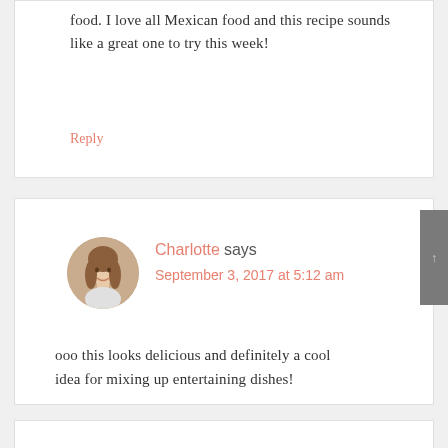food. I love all Mexican food and this recipe sounds like a great one to try this week!
Reply
Charlotte says
September 3, 2017 at 5:12 am
ooo this looks delicious and definitely a cool idea for mixing up entertaining dishes!
Reply